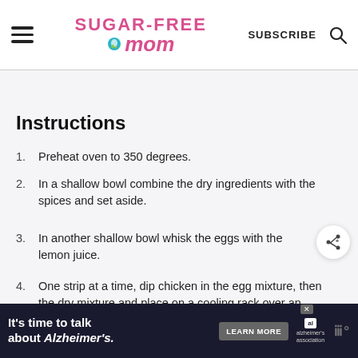Sugar-Free Mom | SUBSCRIBE
Instructions
Preheat oven to 350 degrees.
In a shallow bowl combine the dry ingredients with the spices and set aside.
In another shallow bowl whisk the eggs with the lemon juice.
One strip at a time, dip chicken in the egg mixture, then the dry mixture and place on a cooling rack over an aluminum foil lined baking sheet.
It's time to talk about Alzheimer's. LEARN MORE